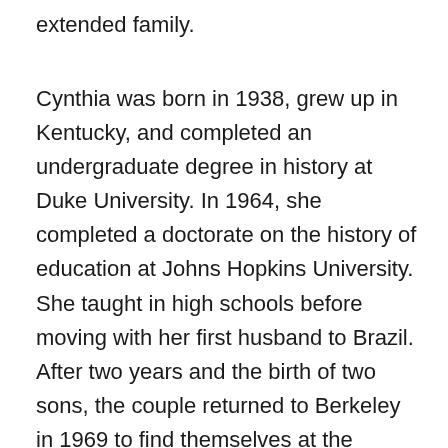extended family.
Cynthia was born in 1938, grew up in Kentucky, and completed an undergraduate degree in history at Duke University. In 1964, she completed a doctorate on the history of education at Johns Hopkins University. She taught in high schools before moving with her first husband to Brazil. After two years and the birth of two sons, the couple returned to Berkeley in 1969 to find themselves at the epicenter of 1960s radicalism. In 1984, Cynthia met the architect Jack Robbins, who would become her second husband. The two are